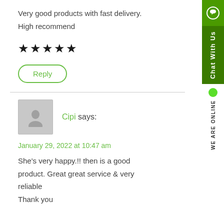Very good products with fast delivery. High recommend
★★★★★
Reply
[Figure (illustration): Grey placeholder avatar icon showing a person silhouette]
Cipi says:
January 29, 2022 at 10:47 am
She's very happy.!! then is a good product. Great great service & very reliable
Thank you